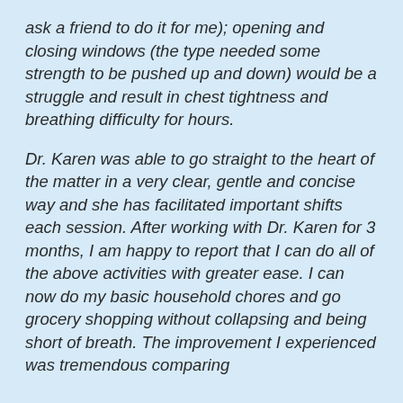ask a friend to do it for me); opening and closing windows (the type needed some strength to be pushed up and down) would be a struggle and result in chest tightness and breathing difficulty for hours.
Dr. Karen was able to go straight to the heart of the matter in a very clear, gentle and concise way and she has facilitated important shifts each session. After working with Dr. Karen for 3 months, I am happy to report that I can do all of the above activities with greater ease. I can now do my basic household chores and go grocery shopping without collapsing and being short of breath. The improvement I experienced was tremendous comparing